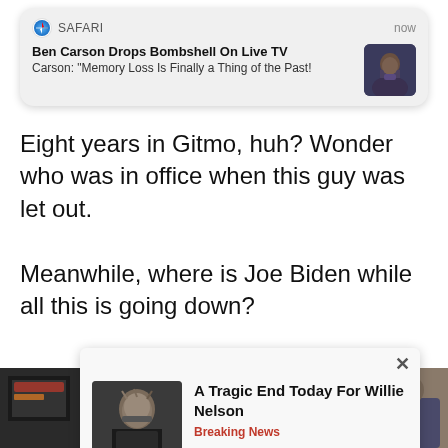[Figure (screenshot): Safari notification banner: 'Ben Carson Drops Bombshell On Live TV' / 'Carson: "Memory Loss Is Finally a Thing of the Past!"' with a thumbnail of Ben Carson and timestamp 'now']
Eight years in Gitmo, huh? Wonder who was in office when this guy was let out.
Meanwhile, where is Joe Biden while all this is going down?
[Figure (photo): Photo of a room with flags and a person sitting at a table, partially obscured by an ad overlay showing Willie Nelson and the text 'A Tragic End Today For Willie Nelson / Breaking News']